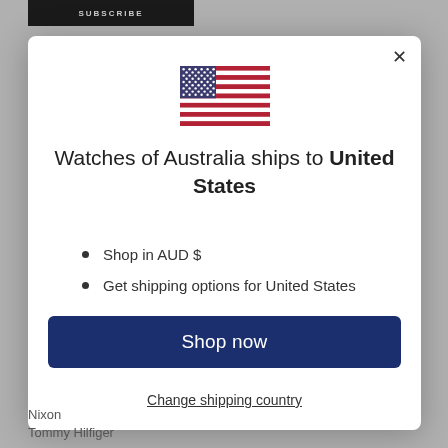[Figure (screenshot): Website modal dialog for Watches of Australia shipping country selection, showing US flag, text, bullet points, shop now button, and change shipping country link]
Watches of Australia ships to United States
Shop in AUD $
Get shipping options for United States
Shop now
Change shipping country